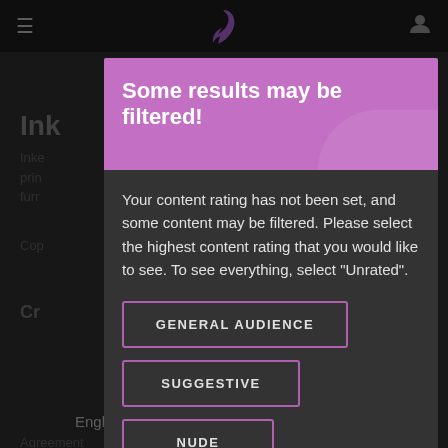≡  [logo]  [user icon]
Ink
Inke
prin
furr
Cop
Cr
FAQ
Agreement
Some results may be filtered!
Your content rating has not been set, and some content may be filtered. Please select the highest content rating that you would like to see. To see everything, select "Unrated".
GENERAL AUDIENCE
SUGGESTIVE
NUDE
English   Deutsch   Español   Русский